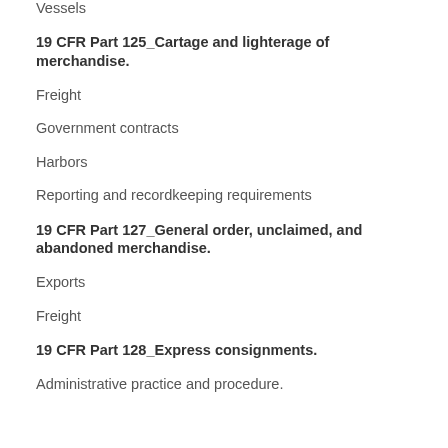Vessels
19 CFR Part 125_Cartage and lighterage of merchandise.
Freight
Government contracts
Harbors
Reporting and recordkeeping requirements
19 CFR Part 127_General order, unclaimed, and abandoned merchandise.
Exports
Freight
19 CFR Part 128_Express consignments.
Administrative practice and procedure.